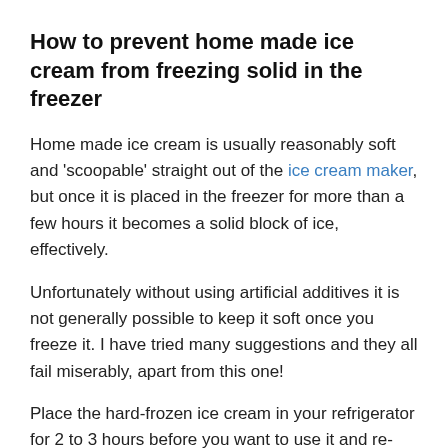How to prevent home made ice cream from freezing solid in the freezer
Home made ice cream is usually reasonably soft and 'scoopable' straight out of the ice cream maker, but once it is placed in the freezer for more than a few hours it becomes a solid block of ice, effectively.
Unfortunately without using artificial additives it is not generally possible to keep it soft once you freeze it. I have tried many suggestions and they all fail miserably, apart from this one!
Place the hard-frozen ice cream in your refrigerator for 2 to 3 hours before you want to use it and re-freeze it immediately you have scooped out what you need.
Admittedly this does require some planning ahead, but it does mean you'll have usable ice-cream.